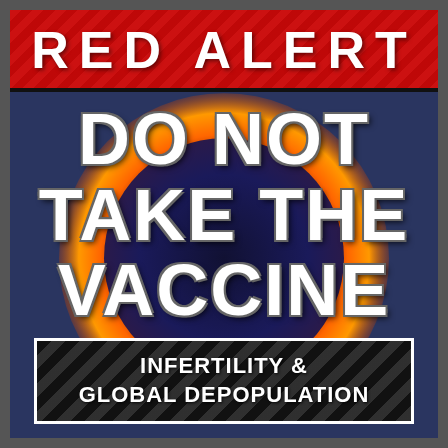RED ALERT
[Figure (illustration): Dark blue background with a large circular fireball/sun corona effect in orange and red tones, overlaid with bold white text reading DO NOT TAKE THE VACCINE]
DO NOT TAKE THE VACCINE
INFERTILITY & GLOBAL DEPOPULATION